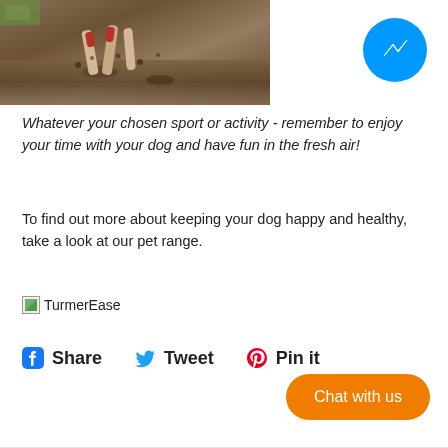[Figure (photo): A dog running through muddy terrain, legs splashing mud, photographed from low angle]
[Figure (logo): Facebook Messenger icon — blue circle with white lightning bolt]
Whatever your chosen sport or activity - remember to enjoy your time with your dog and have fun in the fresh air!
To find out more about keeping your dog happy and healthy, take a look at our pet range.
[Figure (logo): TurmerEase product image (broken/loading placeholder) with text TurmerEase]
Share   Tweet   Pin it